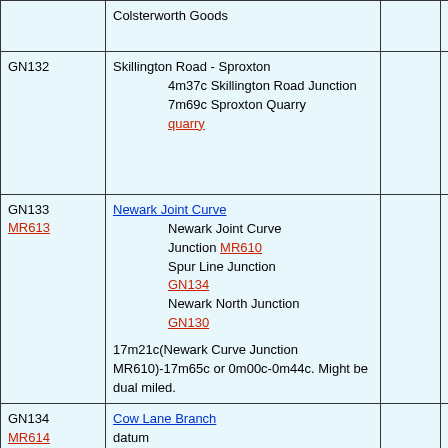| ID | Description |  | Code |
| --- | --- | --- | --- |
|  | Colsterworth Goods |  |  |
| GN132 | Skillington Road - Sproxton

4m37c Skillington Road Junction
7m69c Sproxton Quarry
quarry |  | SPB |
| GN133
MR613 | Newark Joint Curve

Newark Joint Curve Junction MR610
Spur Line Junction GN134
Newark North Junction GN130

17m21c(Newark Curve Junction MR610)-17m65c or 0m00c-0m44c. Might be dual miled. |  | NCM |
| GN134
MR614 | Cow Lane Branch datum

Cow Lane Wharf
Spur Line Junction
GN133 |  |  |